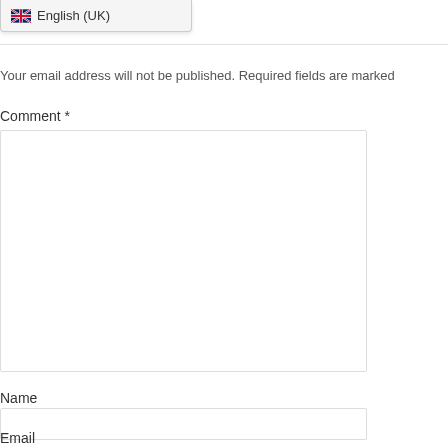[Figure (screenshot): Dropdown menu showing English (UK) language option with UK flag icon]
Your email address will not be published. Required fields are marked
Comment *
[Figure (screenshot): Large empty comment text area input field]
Name
[Figure (screenshot): Empty name input field]
Email